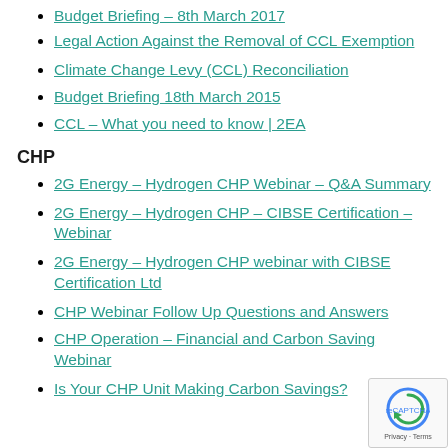Budget Briefing – 8th March 2017
Legal Action Against the Removal of CCL Exemption
Climate Change Levy (CCL) Reconciliation
Budget Briefing 18th March 2015
CCL – What you need to know | 2EA
CHP
2G Energy – Hydrogen CHP Webinar – Q&A Summary
2G Energy – Hydrogen CHP – CIBSE Certification – Webinar
2G Energy – Hydrogen CHP webinar with CIBSE Certification Ltd
CHP Webinar Follow Up Questions and Answers
CHP Operation – Financial and Carbon Savings Webinar
Is Your CHP Unit Making Carbon Savings?